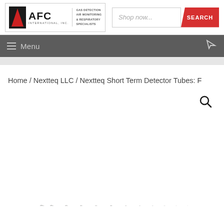[Figure (logo): AFC International Inc. logo with red triangle icon, company name, and taglines: GAS DETECTION, AIR MONITORING & RESPIRATORY SPECIALISTS]
Shop now...
SEARCH
Menu
Home / Nextteq LLC / Nextteq Short Term Detector Tubes: F
[Figure (photo): Fan arrangement of multiple Nextteq detector tubes spread out showing labeled glass tubes with colored bands]